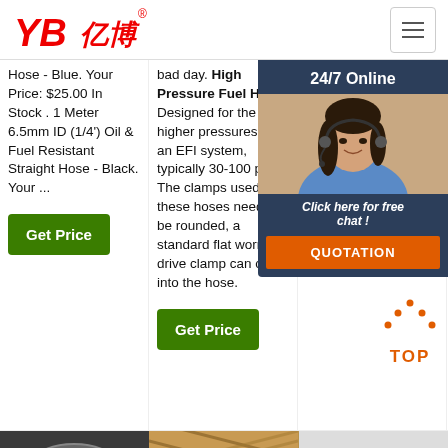[Figure (logo): YB亿博 logo in red italic text with registered trademark symbol]
Hose - Blue. Your Price: $25.00 In Stock . 1 Meter 6.5mm ID (1/4') Oil & Fuel Resistant Straight Hose - Black. Your ...
bad day. High Pressure Fuel Hose. Designed for the higher pressures of an EFI system, typically 30-100 psi. The clamps used on these hoses need to be rounded, a standard flat worm-drive clamp can cut into the hose.
SAE J1527 Style R1 rating emb... hos... sea... hos... psi a pi carb pas ligh...
[Figure (photo): Customer service representative with headset, chat overlay with 24/7 Online label]
Click here for free chat !
QUOTATION
[Figure (illustration): TOP button with orange dots forming chevron above the word TOP in orange]
[Figure (photo): Close-up photo of a hose fitting, dark metallic]
[Figure (photo): Close-up photo of braided fuel hose, tan/gold color]